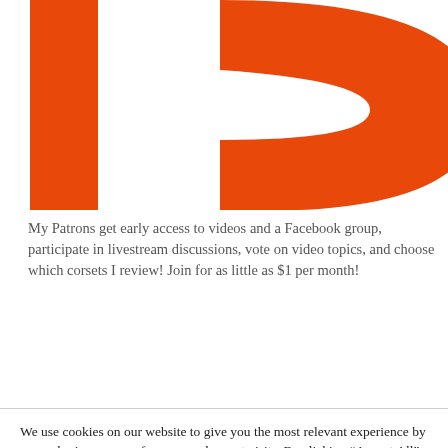[Figure (logo): Large orange Patreon logo letters (partial, cropped) showing 'P' shape in orange on white background]
My Patrons get early access to videos and a Facebook group, participate in livestream discussions, vote on video topics, and choose which corsets I review! Join for as little as $1 per month!
We use cookies on our website to give you the most relevant experience by remembering your preferences and repeat visits. By clicking “Accept All”, you consent to the use of ALL the cookies. However, you may visit "Cookie Settings" to provide a controlled consent.